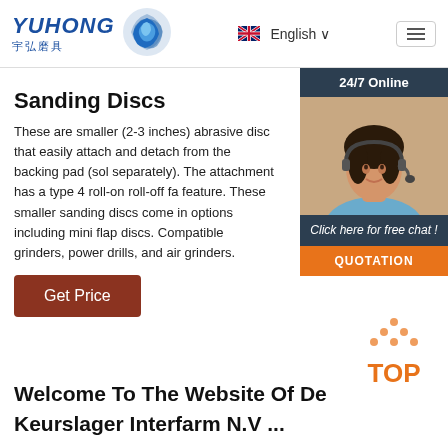YUHONG 宇弘磨具 | English | Menu
Sanding Discs
These are smaller (2-3 inches) abrasive discs that easily attach and detach from the backing pad (sold separately). The attachment has a type 4 roll-on roll-off fastening feature. These smaller sanding discs come in various options including mini flap discs. Compatible with angle grinders, power drills, and air grinders.
[Figure (photo): Customer service representative wearing headset, 24/7 Online widget with chat and quotation button]
Get Price
[Figure (infographic): TOP icon with orange dots forming a triangle above the text TOP in orange]
Welcome To The Website Of De Keurslager Interfarm N.V ...